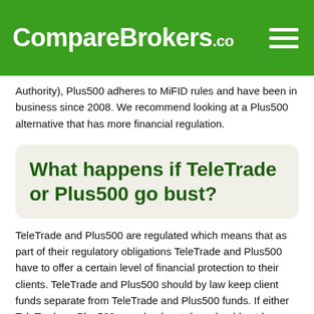CompareBrokers.co
Authority), Plus500 adheres to MiFID rules and have been in business since 2008. We recommend looking at a Plus500 alternative that has more financial regulation.
What happens if TeleTrade or Plus500 go bust?
TeleTrade and Plus500 are regulated which means that as part of their regulatory obligations TeleTrade and Plus500 have to offer a certain level of financial protection to their clients. TeleTrade and Plus500 should by law keep client funds separate from TeleTrade and Plus500 funds. If either TeleTrade or Plus500 goes bankrupt they should not have access to your money. Customers accounts should be segregated. A financial services compensation scheme differs